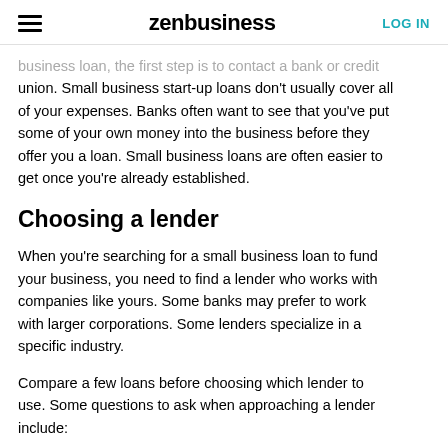zenbusiness | LOG IN
business loan, the first step is to contact a bank or credit union. Small business start-up loans don't usually cover all of your expenses. Banks often want to see that you've put some of your own money into the business before they offer you a loan. Small business loans are often easier to get once you're already established.
Choosing a lender
When you're searching for a small business loan to fund your business, you need to find a lender who works with companies like yours. Some banks may prefer to work with larger corporations. Some lenders specialize in a specific industry.
Compare a few loans before choosing which lender to use. Some questions to ask when approaching a lender include:
Do you work with small businesses and startups?